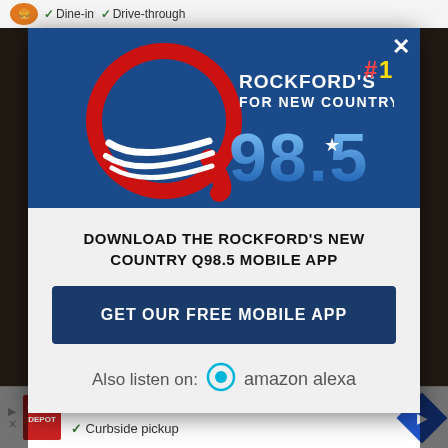[Figure (logo): Q98.5 radio station logo — large red letter Q with white swoosh stripes, blue text reading ROCKFORD'S #1 FOR NEW COUNTRY, and Q98.5 in large blue metallic numerals on a dark blue background]
DOWNLOAD THE ROCKFORD'S NEW COUNTRY Q98.5 MOBILE APP
GET OUR FREE MOBILE APP
Also listen on: amazon alexa